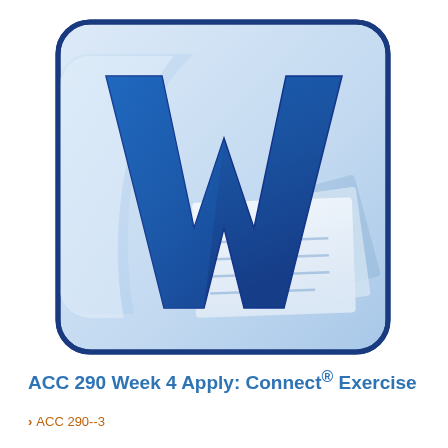[Figure (logo): Microsoft Word 2010 application icon — rounded-rectangle badge with blue gradient background, large blue letter W in center, with paper/document elements in lower right corner]
ACC 290 Week 4 Apply: Connect® Exercise
› ACC 290--3